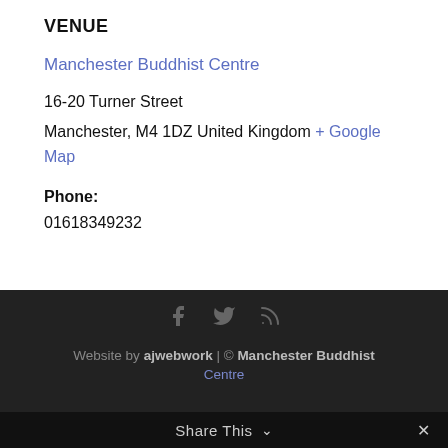VENUE
Manchester Buddhist Centre
16-20 Turner Street
Manchester, M4 1DZ United Kingdom + Google Map
Phone:
01618349232
Young Buddhists Group: Checkin >
Website by ajwebwork | © Manchester Buddhist Centre
Share This ∨  ✕